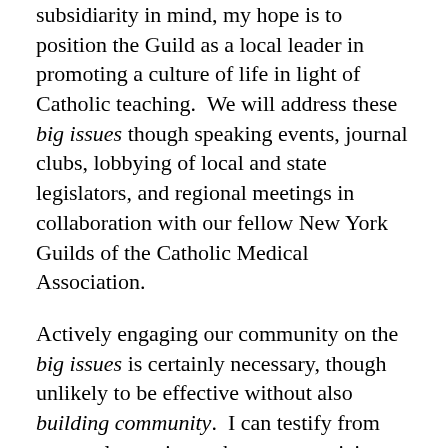subsidiarity in mind, my hope is to position the Guild as a local leader in promoting a culture of life in light of Catholic teaching.  We will address these big issues though speaking events, journal clubs, lobbying of local and state legislators, and regional meetings in collaboration with our fellow New York Guilds of the Catholic Medical Association.
Actively engaging our community on the big issues is certainly necessary, though unlikely to be effective without also building community.  I can testify from personal experience that as a practicing Catholic in the modern medical world it is very easy to become isolated.  The Guild is well-positioned to offer a forum for Catholics to find, and offer, support in what is often a daily struggle to stay true to the Church's teachings in their professional lives.  To this end we will continue Catholics @ URMC meetings, collaborate with the Newman Community at the U of R, establish a mentorship